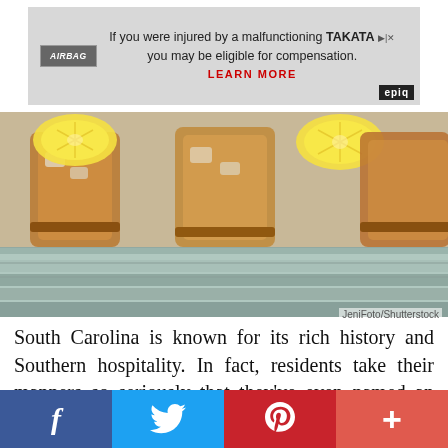[Figure (infographic): Advertisement banner: airbag recall ad - 'If you were injured by a malfunctioning TAKATA airbag, you may be eligible for compensation. LEARN MORE' with EPIC branding]
[Figure (photo): Photo of iced tea glasses with lemon slices on a wooden table. Credit: JeniFoto/Shutterstock]
JeniFoto/Shutterstock
South Carolina is known for its rich history and Southern hospitality. In fact, residents take their manners so seriously that they’ve even named an official state hospitality drink: tea. On top of enjoying some sweet tea, any visitors to the Palmetto State should also enjoy some peaches, the state fruit; some milk, the state drink; some boiled peanuts, the state snack; or a big helping of collard
[Figure (infographic): Social media sharing bar with Facebook (blue), Twitter (light blue), Pinterest (red), and more (salmon/red-orange) buttons]